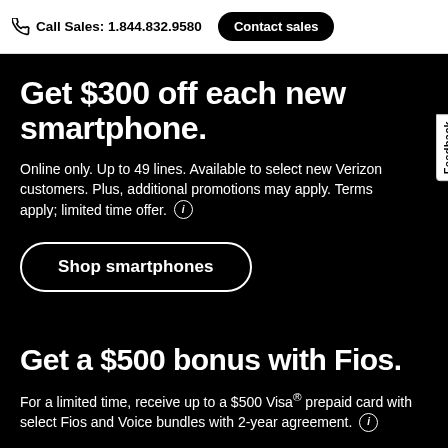Call Sales: 1.844.832.9580  Contact sales
Get $300 off each new smartphone.
Online only. Up to 49 lines. Available to select new Verizon customers. Plus, additional promotions may apply. Terms apply; limited time offer.
Shop smartphones
Get a $500 bonus with Fios.
For a limited time, receive up to a $500 Visa® prepaid card with select Fios and Voice bundles with 2-year agreement.